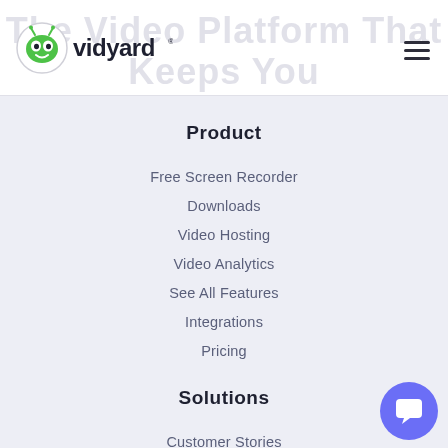[Figure (logo): Vidyard logo: green alien mascot icon with 'vidyard' wordmark in navy text, registered trademark symbol]
The Video Platform That Keeps You Connected
Product
Free Screen Recorder
Downloads
Video Hosting
Video Analytics
See All Features
Integrations
Pricing
Solutions
Customer Stories
Sales